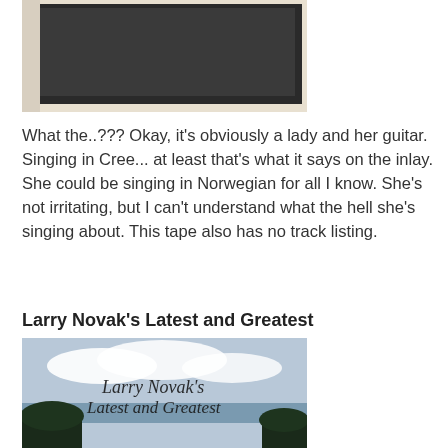[Figure (photo): A photograph showing a lady with a guitar, partially visible, with a dark/black background. The image appears to be a cassette tape or album cover.]
What the..??? Okay, it's obviously a lady and her guitar. Singing in Cree... at least that's what it says on the inlay. She could be singing in Norwegian for all I know. She's not irritating, but I can't understand what the hell she's singing about. This tape also has no track listing.
Larry Novak's Latest and Greatest
[Figure (photo): Album cover for 'Larry Novak's Latest and Greatest' showing script text over a landscape photo with sky, clouds, water, and trees.]